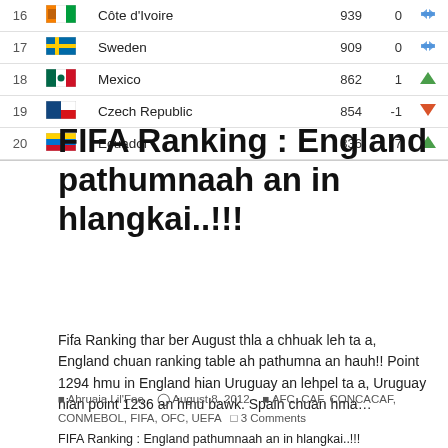| # | Flag | Country | Points | Change | Trend |
| --- | --- | --- | --- | --- | --- |
| 16 |  | Côte d'Ivoire | 939 | 0 | neutral |
| 17 |  | Sweden | 909 | 0 | neutral |
| 18 |  | Mexico | 862 | 1 | up |
| 19 |  | Czech Republic | 854 | -1 | down |
| 20 |  | Ecuador | 836 | 7 | up |
FIFA Ranking : England pathumnaah an in hlangkai..!!!
Fifa Ranking thar ber August thla a chhuak leh ta a, England chuan ranking table ah pathumna an hauh!! Point 1294 hmu in England hian Uruguay an lehpel ta a, Uruguay hian point 1236 an hmu bawk. Spain chuan hma…
Ahruaia Lil'Foe   August 8, 2012   AFC, CAF, CONCACAF, CONMEBOL, FIFA, OFC, UEFA   3 Comments
FIFA Ranking : England pathumnaah an in hlangkai..!!!